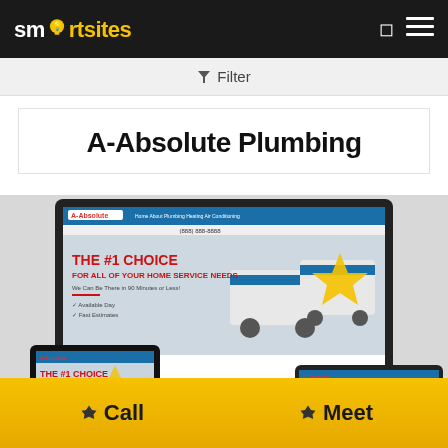SmartSites
Filter
A-Absolute Plumbing
[Figure (screenshot): Multi-device responsive website mockup for A-Absolute Plumbing showing the website displayed on a laptop, tablet, and mobile phone. The website features 'THE #1 CHOICE FOR ALL OF YOUR HOME SERVICE NEEDS' in large red text, service vans, and a gold star graphic.]
Call   Meet